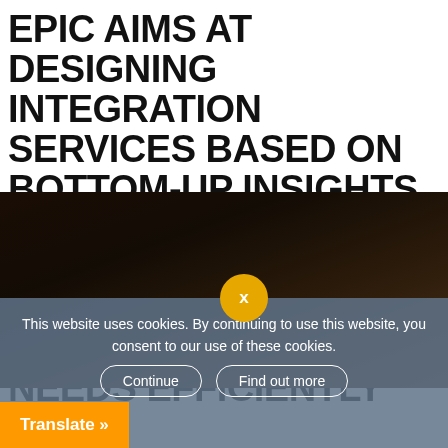EPIC AIMS AT DESIGNING INTEGRATION SERVICES BASED ON BOTTOM-UP INSIGHTS COMING FROM THE DIFFERENT ACTORS AT LOCAL LEVEL TO ADDRESS THEIR NEEDS EFFICIENTLY
[Figure (photo): Dark brown background photo, partially visible, showing a dark room or interior scene]
This website uses cookies. By continuing to use this website, you consent to our use of these cookies.
Continue
Find out more
Translate »